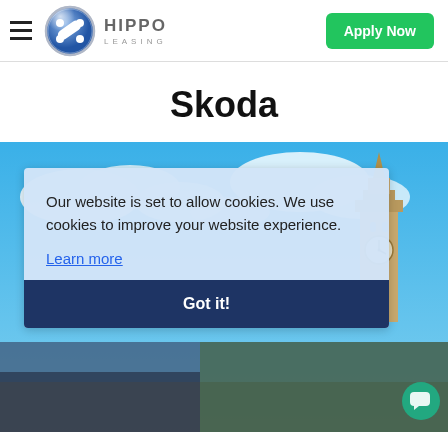Hippo Leasing — Apply Now
Skoda
[Figure (photo): Background photo showing a blue sky with clouds and a clock tower (Big Ben style), with a car leasing website scene. A cookie consent overlay reads: 'Our website is set to allow cookies. We use cookies to improve your website experience. Learn more' with a 'Got it!' button.]
Our website is set to allow cookies. We use cookies to improve your website experience.
Learn more
Got it!